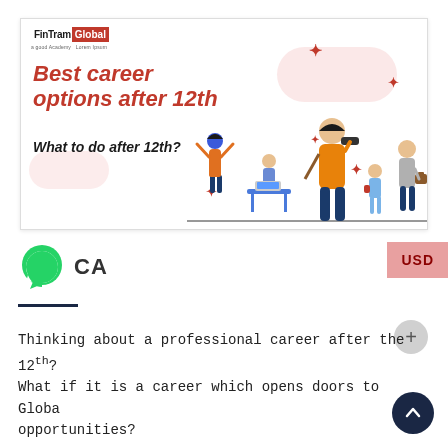[Figure (illustration): FinTram Global branded banner showing 'Best career options after 12th – What to do after 12th?' with illustrated characters: a person with binoculars, a person raising hands, a person at a desk with laptop, a child, and an adult with briefcase. Decorative red star shapes and pink cloud shapes scattered around.]
CA
USD
Thinking about a professional career after the 12th? What if it is a career which opens doors to Global opportunities?